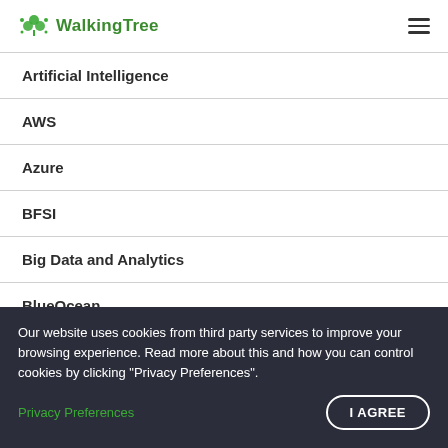WalkingTree
Artificial Intelligence
AWS
Azure
BFSI
Big Data and Analytics
BlueOcean
Chartly
ChromeTips
CloudAI
Our website uses cookies from third party services to improve your browsing experience. Read more about this and how you can control cookies by clicking "Privacy Preferences".
Privacy Preferences
I AGREE